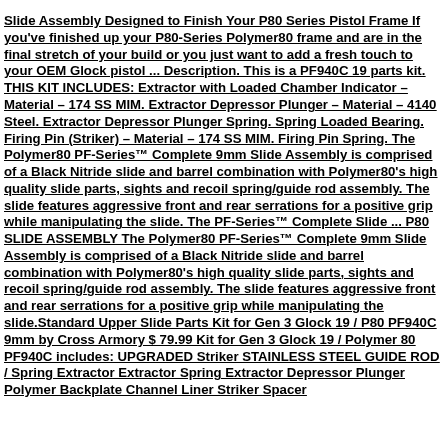Slide Assembly Designed to Finish Your P80 Series Pistol Frame If you've finished up your P80-Series Polymer80 frame and are in the final stretch of your build or you just want to add a fresh touch to your OEM Glock pistol ... Description. This is a PF940C 19 parts kit. THIS KIT INCLUDES: Extractor with Loaded Chamber Indicator – Material – 174 SS MIM. Extractor Depressor Plunger – Material – 4140 Steel. Extractor Depressor Plunger Spring. Spring Loaded Bearing. Firing Pin (Striker) – Material – 174 SS MIM. Firing Pin Spring. The Polymer80 PF-Series™ Complete 9mm Slide Assembly is comprised of a Black Nitride slide and barrel combination with Polymer80's high quality slide parts, sights and recoil spring/guide rod assembly. The slide features aggressive front and rear serrations for a positive grip while manipulating the slide. The PF-Series™ Complete Slide ... P80 SLIDE ASSEMBLY The Polymer80 PF-Series™ Complete 9mm Slide Assembly is comprised of a Black Nitride slide and barrel combination with Polymer80's high quality slide parts, sights and recoil spring/guide rod assembly. The slide features aggressive front and rear serrations for a positive grip while manipulating the slide.Standard Upper Slide Parts Kit for Gen 3 Glock 19 / P80 PF940C 9mm by Cross Armory $ 79.99 Kit for Gen 3 Glock 19 / Polymer 80 PF940C includes: UPGRADED Striker STAINLESS STEEL GUIDE ROD / Spring Extractor Extractor Spring Extractor Depressor Plunger Polymer Backplate Channel Liner Striker Spacer